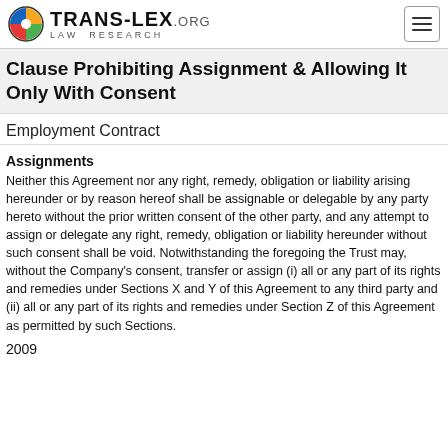TRANS-LEX.ORG LAW RESEARCH
Clause Prohibiting Assignment & Allowing It Only With Consent
Employment Contract
Assignments
Neither this Agreement nor any right, remedy, obligation or liability arising hereunder or by reason hereof shall be assignable or delegable by any party hereto without the prior written consent of the other party, and any attempt to assign or delegate any right, remedy, obligation or liability hereunder without such consent shall be void. Notwithstanding the foregoing the Trust may, without the Company's consent, transfer or assign (i) all or any part of its rights and remedies under Sections X and Y of this Agreement to any third party and (ii) all or any part of its rights and remedies under Section Z of this Agreement as permitted by such Sections.
2009